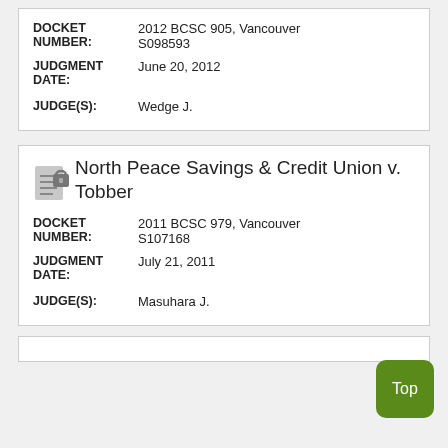| Field | Value |
| --- | --- |
| DOCKET NUMBER: | 2012 BCSC 905, Vancouver S098593 |
| JUDGMENT DATE: | June 20, 2012 |
| JUDGE(S): | Wedge J. |
North Peace Savings & Credit Union v. Tobber
| Field | Value |
| --- | --- |
| DOCKET NUMBER: | 2011 BCSC 979, Vancouver S107168 |
| JUDGMENT DATE: | July 21, 2011 |
| JUDGE(S): | Masuhara J. |